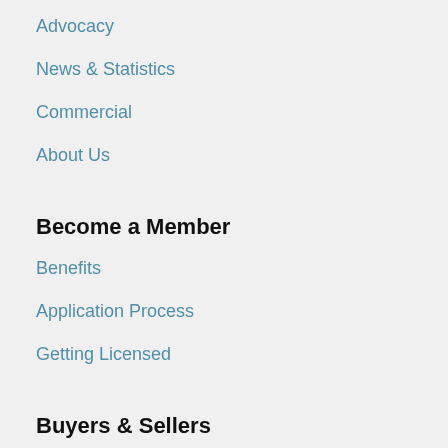Advocacy
News & Statistics
Commercial
About Us
Become a Member
Benefits
Application Process
Getting Licensed
Buyers & Sellers
Why Use a REALTOR®?
Buying a Home